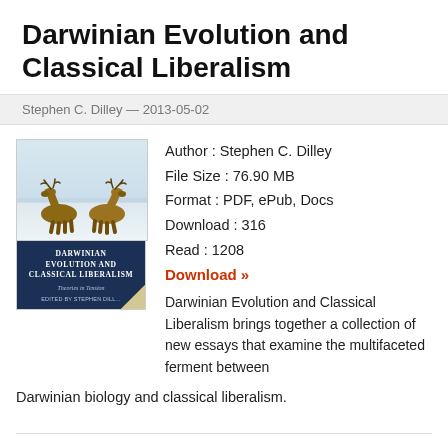Darwinian Evolution and Classical Liberalism
Stephen C. Dilley — 2013-05-02
[Figure (photo): Book cover image showing two elk butting heads in a snowy landscape (top photo), and below it the book cover with dark blue background and white title text 'Darwinian Evolution and Classical Liberalism: Theories in Tension' edited by Stephen Dilley]
Author : Stephen C. Dilley
File Size : 76.90 MB
Format : PDF, ePub, Docs
Download : 316
Read : 1208
Download »
Darwinian Evolution and Classical Liberalism brings together a collection of new essays that examine the multifaceted ferment between Darwinian biology and classical liberalism.